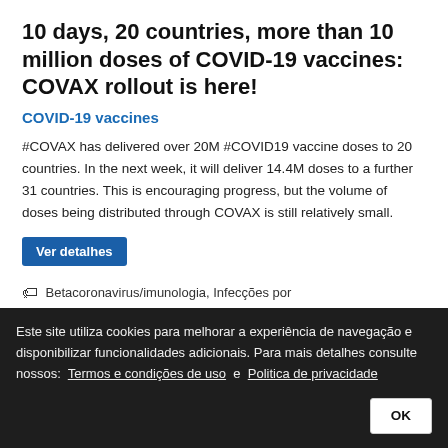10 days, 20 countries, more than 10 million doses of COVID-19 vaccines: COVAX rollout is here!
COVID-19 vaccines
#COVAX has delivered over 20M #COVID19 vaccine doses to 20 countries. In the next week, it will deliver 14.4M doses to a further 31 countries. This is encouraging progress, but the volume of doses being distributed through COVAX is still relatively small.
Ver detalhes
🏷 Betacoronavirus/imunologia, Infecções por Coronavirus/imunologia, Pneumonia Viral/imunologia, Pandemias/prevenção & controle, Vacinas Virais/provisão & distribuição, Programas de Imunização/organização & administração, COVID-19, Covax
[Figure (photo): Dark image strip with a blue avatar circle on the left]
Este site utiliza cookies para melhorar a experiência de navegação e disponibilizar funcionalidades adicionais. Para mais detalhes consulte nossos:  Termos e condições de uso  e  Politica de privacidade
OK